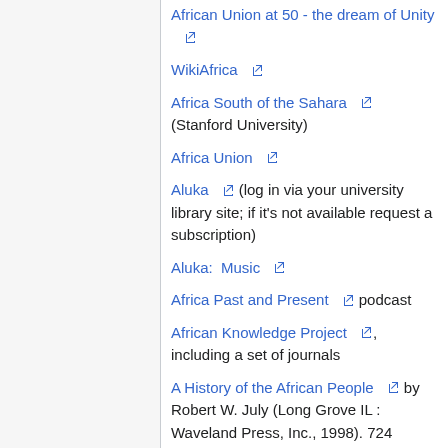African Union at 50 - the dream of Unity [external link]
WikiAfrica [external link]
Africa South of the Sahara [external link] (Stanford University)
Africa Union [external link]
Aluka [external link] (log in via your university library site; if it's not available request a subscription)
Aluka:  Music [external link]
Africa Past and Present [external link] podcast
African Knowledge Project [external link], including a set of journals
A History of the African People [external link] by Robert W. July (Long Grove IL : Waveland Press, Inc., 1998). 724 page(s)